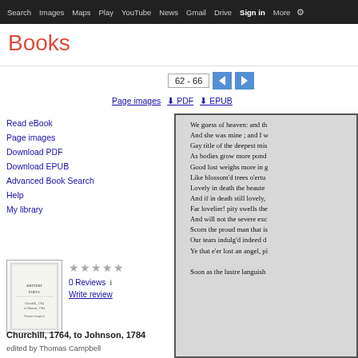Search  Images  Maps  Play  YouTube  News  Gmail  Drive  More  Sign in
Books
62 - 66
Page images   PDF   EPUB
Read eBook
Page images
Download PDF
Download EPUB
Advanced Book Search
Help
My library
[Figure (illustration): Thumbnail of book cover for Churchill, 1764, to Johnson, 1784]
0 Reviews   Write review
Churchill, 1764, to Johnson, 1784
edited by Thomas Campbell
[Figure (screenshot): Book page image showing poetry text: We guess of heaven: and th... / And she was mine ; and I w... / Gay title of the deepest mis... / As bodies grow more pond... / Good lost weighs more in g... / Like blossom'd trees o'ertu... / Lovely in death the beaute... / And if in death still lovely,... / Far lovelier! pity swells the... / And will not the severe exc... / Scorn the proud man that is... / Our tears indulg'd indeed d... / Ye that e'er lost an angel, pi... / Soon as the lustre languish...]